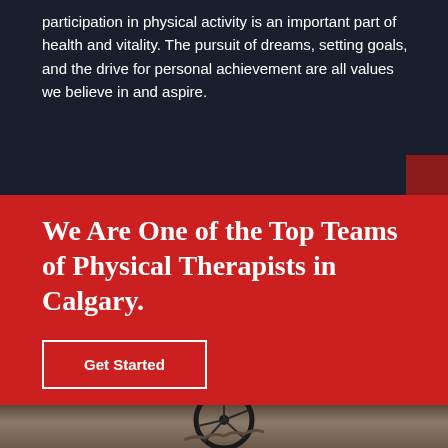participation in physical activity is an important part of health and vitality. The pursuit of dreams, setting goals, and the drive for personal achievement are all values we believe in and aspire.
We Are One of the Top Teams of Physical Therapists in Calgary.
Get Started
[Figure (photo): Bottom portion of a mountain bike wheel on rocky terrain]